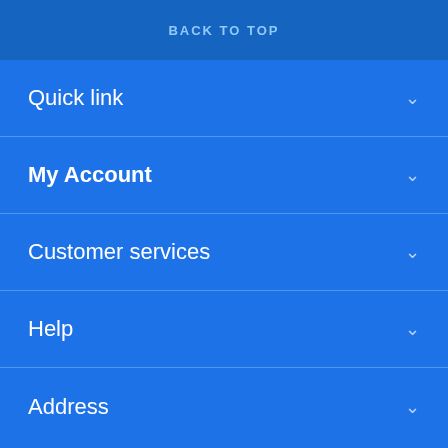BACK TO TOP
Quick link
My Account
Customer services
Help
Address